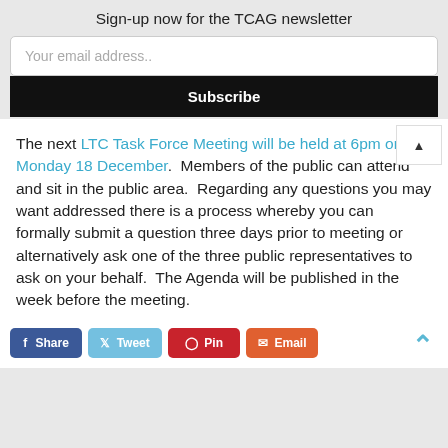Sign-up now for the TCAG newsletter
Your email address..
Subscribe
The next LTC Task Force Meeting will be held at 6pm on Monday 18 December.  Members of the public can attend and sit in the public area.  Regarding any questions you may want addressed there is a process whereby you can formally submit a question three days prior to meeting or alternatively ask one of the three public representatives to ask on your behalf.  The Agenda will be published in the week before the meeting.
Share  Tweet  Pin  Email